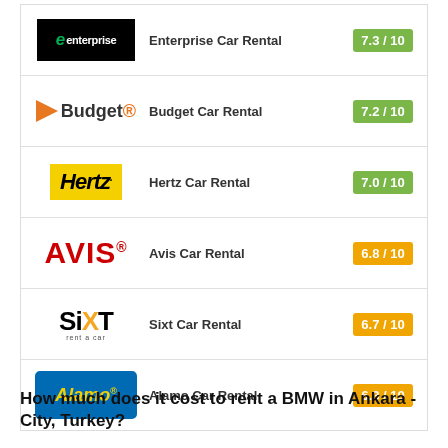| Logo | Company | Score |
| --- | --- | --- |
| Enterprise | Enterprise Car Rental | 7.3 / 10 |
| Budget | Budget Car Rental | 7.2 / 10 |
| Hertz | Hertz Car Rental | 7.0 / 10 |
| Avis | Avis Car Rental | 6.8 / 10 |
| Sixt | Sixt Car Rental | 6.7 / 10 |
| Alamo | Alamo Car Rental | 6.3 / 10 |
How much does it cost to rent a BMW in Ankara - City, Turkey?